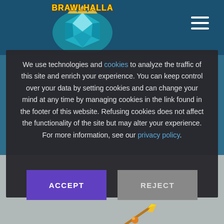[Figure (logo): Brawlhalla game logo with blue gem/shield icon and stylized text]
We use technologies and cookies to analyze the traffic of this site and enrich your experience. You can keep control over your data by setting cookies and can change your mind at any time by managing cookies in the link found in the footer of this website. Refusing cookies does not affect the functionality of the site but may alter your experience. For more information, see our privacy policy.
[Figure (illustration): Brawlhalla weapon/spear illustration at the bottom of the page]